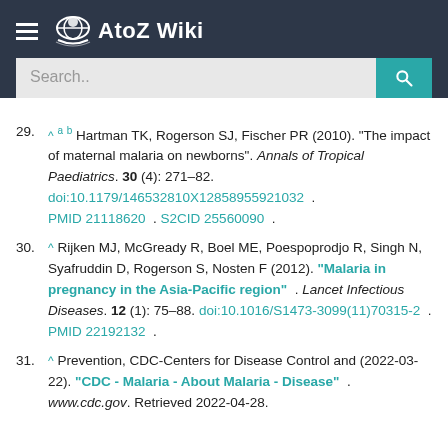AtoZ Wiki
29. ^ a b Hartman TK, Rogerson SJ, Fischer PR (2010). "The impact of maternal malaria on newborns". Annals of Tropical Paediatrics. 30 (4): 271–82. doi:10.1179/146532810X12858955921032 . PMID 21118620 . S2CID 25560090 .
30. ^ Rijken MJ, McGready R, Boel ME, Poespoprodjo R, Singh N, Syafruddin D, Rogerson S, Nosten F (2012). "Malaria in pregnancy in the Asia-Pacific region" . Lancet Infectious Diseases. 12 (1): 75–88. doi:10.1016/S1473-3099(11)70315-2 . PMID 22192132 .
31. ^ Prevention, CDC-Centers for Disease Control and (2022-03-22). "CDC - Malaria - About Malaria - Disease" . www.cdc.gov. Retrieved 2022-04-28.